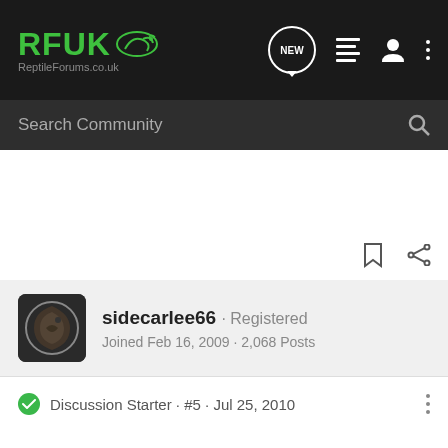RFUK ReptileForums.co.uk — navigation bar with NEW, list, user, and menu icons
Search Community
sidecarlee66 · Registered
Joined Feb 16, 2009 · 2,068 Posts
Discussion Starter · #5 · Jul 25, 2010